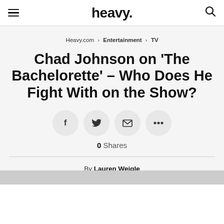heavy.
Heavy.com › Entertainment › TV
Chad Johnson on ‘The Bachelorette’ – Who Does He Fight With on the Show?
[Figure (other): Social share buttons: Facebook, Twitter, Email, More (...)]
0 Shares
By Lauren Weigle
Updated Jun 6, 2016 at 8:19pm